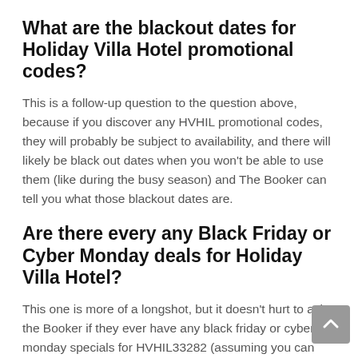What are the blackout dates for Holiday Villa Hotel promotional codes?
This is a follow-up question to the question above, because if you discover any HVHIL promotional codes, they will probably be subject to availability, and there will likely be black out dates when you won't be able to use them (like during the busy season) and The Booker can tell you what those blackout dates are.
Are there every any Black Friday or Cyber Monday deals for Holiday Villa Hotel?
This one is more of a longshot, but it doesn't hurt to ask the Booker if they ever have any black friday or cyber monday specials for HVHIL33282 (assuming you can wait that long).